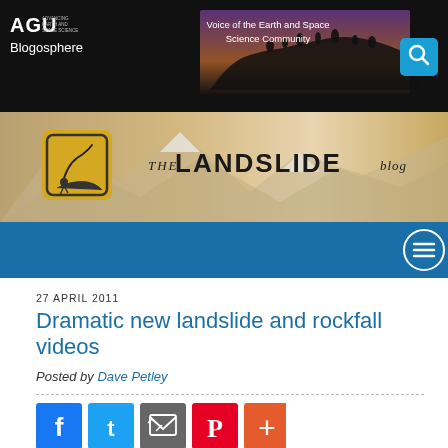[Figure (screenshot): AGU Blogosphere header with logo, silhouette of people on a ridge, 'Voice of the Earth and Space Science Community' text, and search icon on dark background]
[Figure (screenshot): The Landslide Blog banner with mountain/snow imagery and landslide warning sign icon]
[Figure (screenshot): Blue navigation bar with hamburger menu button (three horizontal lines in circle)]
27 APRIL 2011
Dramatic new landslide and rockfall videos
Posted by Dave Petley
[Figure (infographic): Social sharing icons row: Facebook (blue f), Twitter (blue bird), Email/share (grey envelope), Pinterest (red P), More (orange plus)]
In the last few days a series of new videos have emerged of landslides and rockfalls as they occur. Thanks to various people